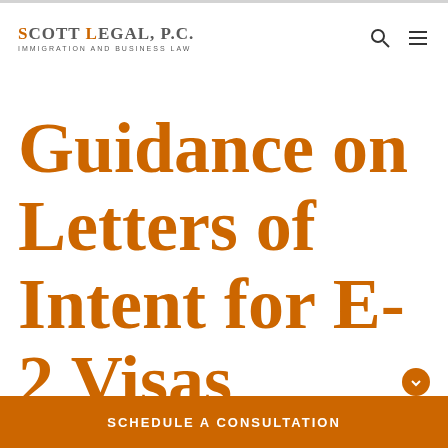SCOTT LEGAL, P.C. IMMIGRATION AND BUSINESS LAW
Guidance on Letters of Intent for E-2 Visas
SCHEDULE A CONSULTATION